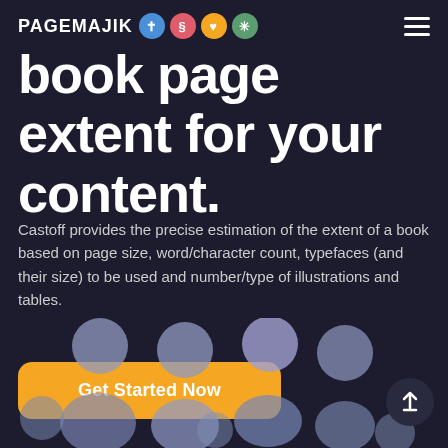PAGEMAJIK
book page extent for your content.
Castoff provides the precise estimation of the extent of a book based on page size, word/character count, typefaces (and their size) to be used and number/type of illustrations and tables.
Get Started Now
[Figure (illustration): Group of stylized person silhouettes (circles and body shapes) in muted blue-purple tones arranged in rows at the bottom of the page]